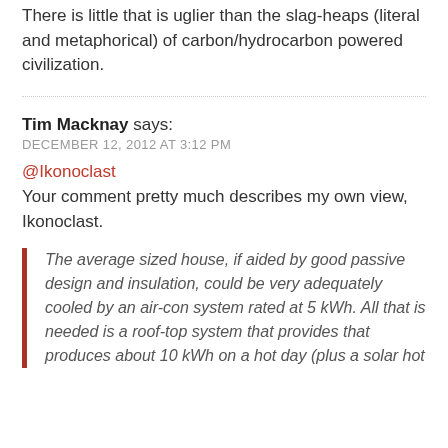There is little that is uglier than the slag-heaps (literal and metaphorical) of carbon/hydrocarbon powered civilization.
Tim Macknay says:
DECEMBER 12, 2012 AT 3:12 PM
@Ikonoclast
Your comment pretty much describes my own view, Ikonoclast.
The average sized house, if aided by good passive design and insulation, could be very adequately cooled by an air-con system rated at 5 kWh. All that is needed is a roof-top system that provides that produces about 10 kWh on a hot day (plus a solar hot…